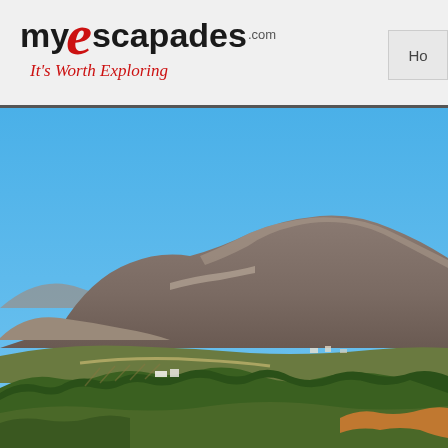[Figure (logo): myEscapades.com logo with red stylized letter E and tagline 'It's Worth Exploring']
[Figure (photo): Scenic landscape photo showing rocky mountains under a clear blue sky, with green trees and vineyards or farmland in the foreground. Typical South African Cape Winelands scenery.]